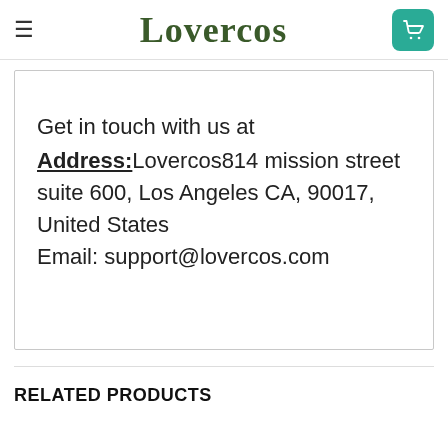Lovercos
Get in touch with us at
Address:Lovercos814 mission street suite 600, Los Angeles CA, 90017, United States
Email: support@lovercos.com
RELATED PRODUCTS